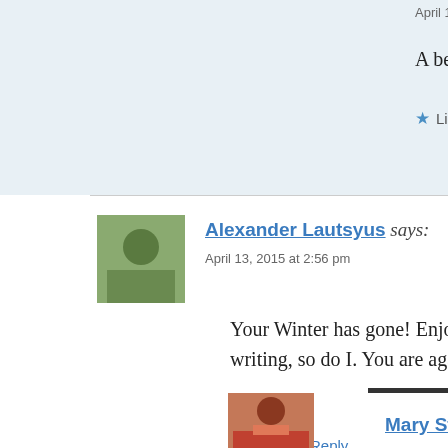April 13, 2015 at 5:43 pm
A beautiful place spring is....glad that I ca
Like
Reply
Alexander Lautsyus says:
April 13, 2015 at 2:56 pm
Your Winter has gone! Enjoy the Spring! As I see your writing, so do I. You are again in blogosphere. Thank y
Like
Reply
Mary Strong-Spaid says: